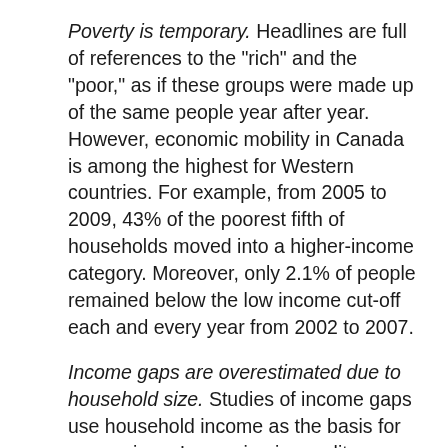Poverty is temporary. Headlines are full of references to the "rich" and the "poor," as if these groups were made up of the same people year after year. However, economic mobility in Canada is among the highest for Western countries. For example, from 2005 to 2009, 43% of the poorest fifth of households moved into a higher-income category. Moreover, only 2.1% of people remained below the low income cut-off each and every year from 2002 to 2007.
Income gaps are overestimated due to household size. Studies of income gaps use household income as the basis for comparison. Increasing inequality, however, stems in large part from a social change. The number of single-parent families is increasing, and these types of families tend to be less affluent. An